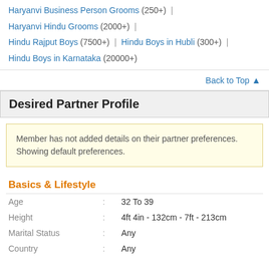Haryanvi Business Person Grooms (250+) | Haryanvi Hindu Grooms (2000+) | Hindu Rajput Boys (7500+) | Hindu Boys in Hubli (300+) | Hindu Boys in Karnataka (20000+)
Back to Top ↑
Desired Partner Profile
Member has not added details on their partner preferences. Showing default preferences.
Basics & Lifestyle
| Field |  | Value |
| --- | --- | --- |
| Age | : | 32 To 39 |
| Height | : | 4ft 4in - 132cm - 7ft - 213cm |
| Marital Status | : | Any |
| Country | : | Any |